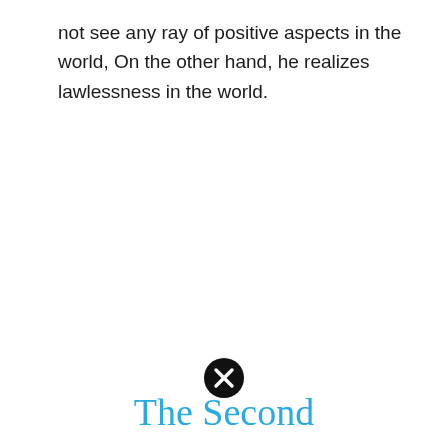not see any ray of positive aspects in the world, On the other hand, he realizes lawlessness in the world.
[Figure (illustration): Black circle with white X mark in the center]
The Second